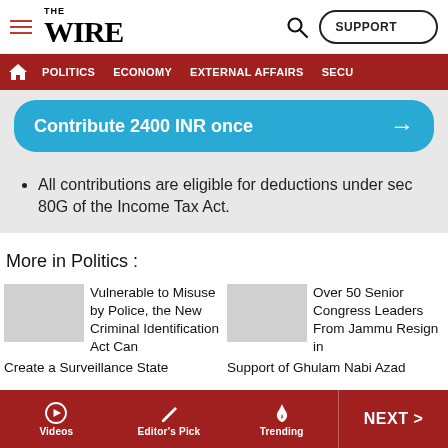THE WIRE — SUPPORT — POLITICS — ECONOMY — EXTERNAL AFFAIRS — SECU...
Contribute 2400 INR once →
All contributions are eligible for deductions under sec 80G of the Income Tax Act.
More in Politics :
Vulnerable to Misuse by Police, the New Criminal Identification Act Can Create a Surveillance State
Over 50 Senior Congress Leaders From Jammu Resign in Support of Ghulam Nabi Azad
Videos — Editor's Pick — Trending — NEXT >